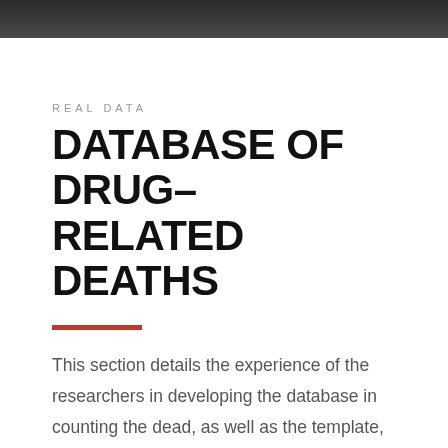REAL DATA
DATABASE OF DRUG-RELATED DEATHS
This section details the experience of the researchers in developing the database in counting the dead, as well as the template, coding guide, etc. The files are free to download to promote our advocacy of documenting these